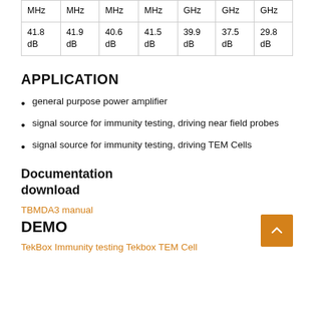| MHz | MHz | MHz | MHz | GHz | GHz | GHz |
| --- | --- | --- | --- | --- | --- | --- |
| 41.8
dB | 41.9
dB | 40.6
dB | 41.5
dB | 39.9
dB | 37.5
dB | 29.8
dB |
APPLICATION
general purpose power amplifier
signal source for immunity testing, driving near field probes
signal source for immunity testing, driving TEM Cells
Documentation download
TBMDA3 manual
DEMO
TekBox Immunity testing Tekbox TEM Cell